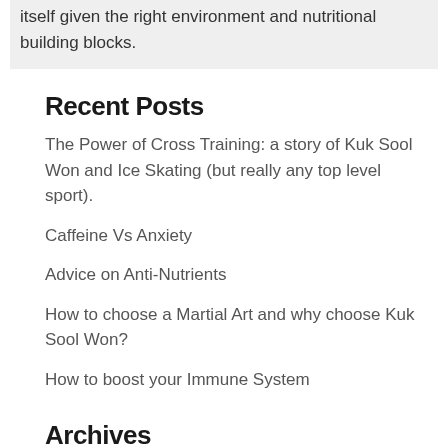itself given the right environment and nutritional building blocks.
Recent Posts
The Power of Cross Training: a story of Kuk Sool Won and Ice Skating (but really any top level sport).
Caffeine Vs Anxiety
Advice on Anti-Nutrients
How to choose a Martial Art and why choose Kuk Sool Won?
How to boost your Immune System
Archives
May 2020
April 2020